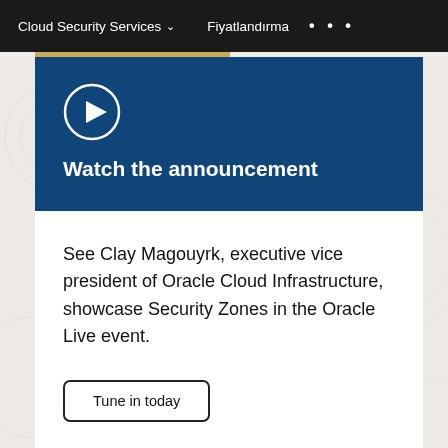Cloud Security Services   Fiyatlandırma   • • •
[Figure (screenshot): Blue announcement panel with play button icon and title 'Watch the announcement']
See Clay Magouyrk, executive vice president of Oracle Cloud Infrastructure, showcase Security Zones in the Oracle Live event.
Tune in today
[Figure (screenshot): Bottom blue panel with down arrow, partially visible. Orange chat widget in bottom-right corner.]